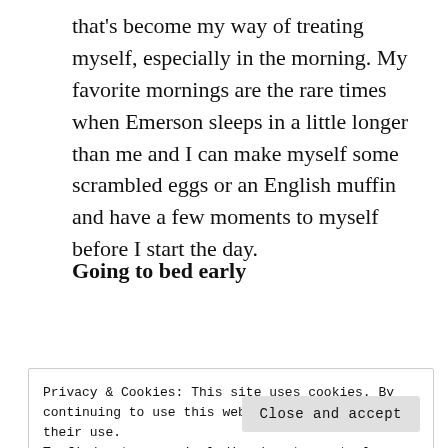that's become my way of treating myself, especially in the morning. My favorite mornings are the rare times when Emerson sleeps in a little longer than me and I can make myself some scrambled eggs or an English muffin and have a few moments to myself before I start the day.
Going to bed early
[Figure (other): A blue 'Apply' button on the left and a circular avatar photo of a man with glasses on the right]
Privacy & Cookies: This site uses cookies. By continuing to use this website, you agree to their use.
To find out more, including how to control cookies, see here: Cookie Policy
Close and accept